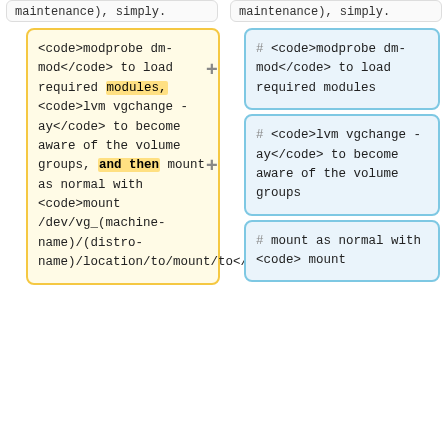maintenance), simply.
maintenance), simply.
<code>modprobe dm-mod</code> to load required modules, <code>lvm vgchange -ay</code> to become aware of the volume groups, and then mount as normal with <code>mount /dev/vg_(machine-name)/(distro-name)/location/to/mount/to</code>.
# <code>modprobe dm-mod</code> to load required modules
# <code>lvm vgchange -ay</code> to become aware of the volume groups
# mount as normal with <code> mount